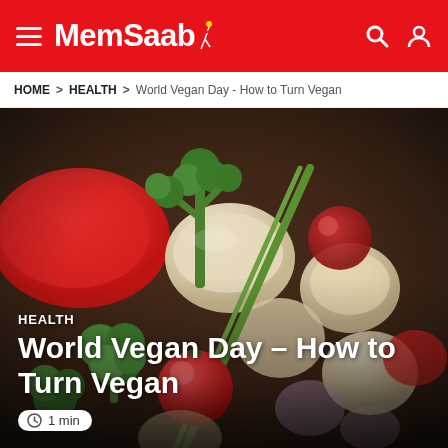MemSaab
HOME > HEALTH > World Vegan Day - How to Turn Vegan
[Figure (photo): Close-up photograph of a bowl of mixed vegetables including broccoli, cherry tomatoes, mushrooms, green beans, and other colorful vegetables]
HEALTH
World Vegan Day – How to Turn Vegan
1 min